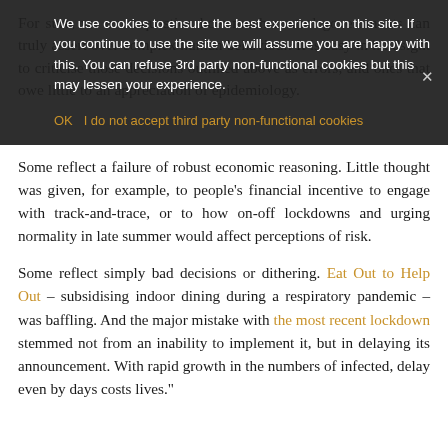For sure, we must question how much control governments can truly assert over complex human behaviour. It is easy in hindsight to criticise those decisions outlined above as errors, and ones that owe little to an appreciation of epidemiology.
We use cookies to ensure the best experience on this site. If you continue to use the site we will assume you are happy with this. You can refuse 3rd party non-functional cookies but this may lessen your experience.
OK   I do not accept third party non-functional cookies
Some reflect a failure of robust economic reasoning. Little thought was given, for example, to people's financial incentive to engage with track-and-trace, or to how on-off lockdowns and urging normality in late summer would affect perceptions of risk.
Some reflect simply bad decisions or dithering. Eat Out to Help Out – subsidising indoor dining during a respiratory pandemic – was baffling. And the major mistake with the most recent lockdown stemmed not from an inability to implement it, but in delaying its announcement. With rapid growth in the numbers of infected, delay even by days costs lives."